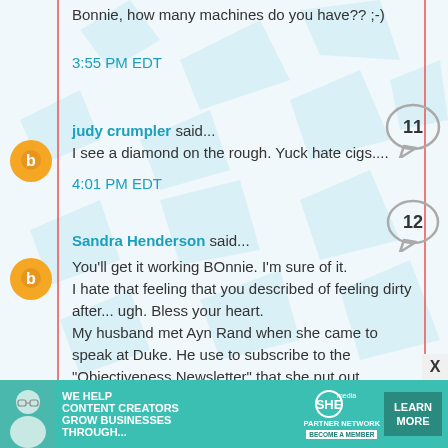Bonnie, how many machines do you have?? ;-)
3:55 PM EDT
judy crumpler said...
I see a diamond on the rough. Yuck hate cigs....
4:01 PM EDT
Sandra Henderson said...
You'll get it working BOnnie. I'm sure of it.
I hate that feeling that you described of feeling dirty after... ugh. Bless your heart.
My husband met Ayn Rand when she came to speak at Duke. He use to subscribe to the "Objectiveness Newsletter" that she put out.
COOL!~
again.
4:03 PM EDT
[Figure (infographic): Ad banner for SHE Media Partner Network with text: WE HELP CONTENT CREATORS GROW BUSINESSES THROUGH..., SHE logo, PARTNER NETWORK, BECOME A MEMBER, LEARN MORE button]